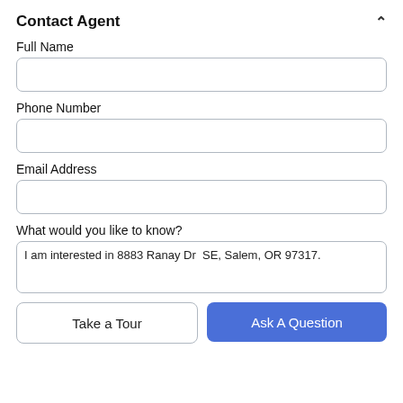Contact Agent
Full Name
[Figure (other): Empty text input field for Full Name]
Phone Number
[Figure (other): Empty text input field for Phone Number]
Email Address
[Figure (other): Empty text input field for Email Address]
What would you like to know?
[Figure (other): Textarea with text: I am interested in 8883 Ranay Dr  SE, Salem, OR 97317.]
Take a Tour
Ask A Question